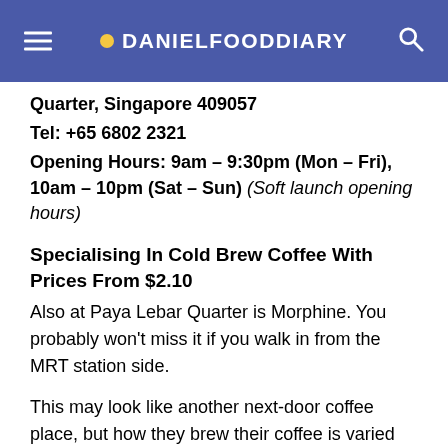DANIELFOODDIARY
Quarter, Singapore 409057
Tel: +65 6802 2321
Opening Hours: 9am – 9:30pm (Mon – Fri), 10am – 10pm (Sat – Sun) (Soft launch opening hours)
Specialising In Cold Brew Coffee With Prices From $2.10
Also at Paya Lebar Quarter is Morphine. You probably won't miss it if you walk in from the MRT station side.
This may look like another next-door coffee place, but how they brew their coffee is varied from the usual typical practices. Their drinks could therefore taste different from the norm.
First things first, they are leaving out the sugar, margarine, corn etc. in the roasting, so as to bring out a more natural